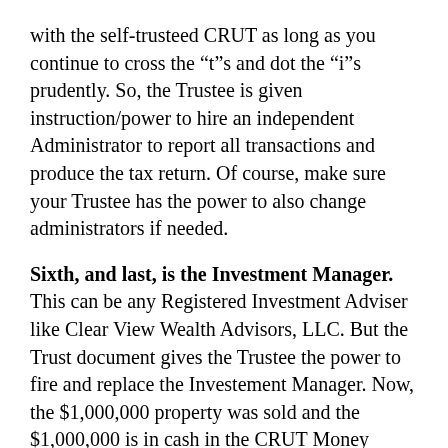with the self-trusteed CRUT as long as you continue to cross the “t”s and dot the “i”s prudently. So, the Trustee is given instruction/power to hire an independent Administrator to report all transactions and produce the tax return. Of course, make sure your Trustee has the power to also change administrators if needed.
Sixth, and last, is the Investment Manager. This can be any Registered Investment Adviser like Clear View Wealth Advisors, LLC. But the Trust document gives the Trustee the power to fire and replace the Investement Manager. Now, the $1,000,000 property was sold and the $1,000,000 is in cash in the CRUT Money Market fund. A fiduciary investment adviser, like Clear View Wealth Advisors, can make suitable recommendations for this portfolio. Maybe the $1,000,000 is invested in 6 or 7